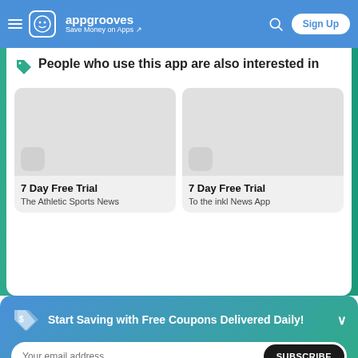appgrooves — Save Money on Apps — Sign Up
People who use this app are also interested in
7 Day Free Trial — The Athletic Sports News
7 Day Free Trial — To the inkl News App
Start Saving with Free Coupons Delivered Daily!
Your email address
SUBSCRIBE
You can opt out anytime   Terms of Service | Privacy Policy